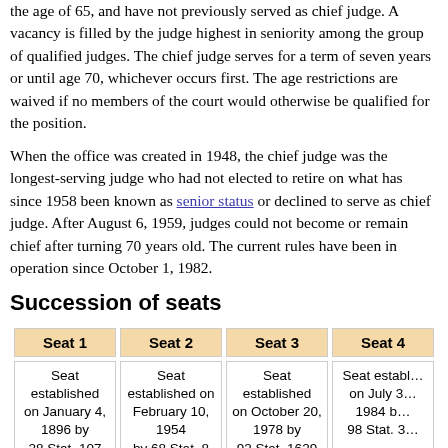the age of 65, and have not previously served as chief judge. A vacancy is filled by the judge highest in seniority among the group of qualified judges. The chief judge serves for a term of seven years or until age 70, whichever occurs first. The age restrictions are waived if no members of the court would otherwise be qualified for the position.
When the office was created in 1948, the chief judge was the longest-serving judge who had not elected to retire on what has since 1958 been known as senior status or declined to serve as chief judge. After August 6, 1959, judges could not become or remain chief after turning 70 years old. The current rules have been in operation since October 1, 1982.
Succession of seats
| Seat 1 | Seat 2 | Seat 3 | Seat 4 |
| --- | --- | --- | --- |
| Seat established on January 4, 1896 by 28 Stat. 107 | Seat established on February 10, 1954 by 68 Stat. 8 (temporary) | Seat established on October 20, 1978 by 92 Stat. 1629 | Seat established on July … 1984 b… 98 Stat. 3… |
| Marshall | 1896–1915 | Seat made permanent on May 19, 1961 by | Winder | 1979–1997 | Greene, Jr. | 19… |